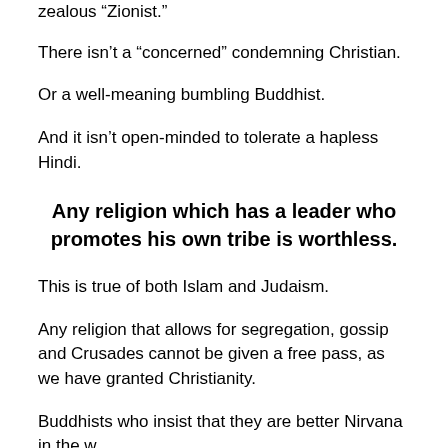zealous “Zionist.”
There isn’t a “concerned” condemning Christian.
Or a well-meaning bumbling Buddhist.
And it isn’t open-minded to tolerate a hapless Hindi.
Any religion which has a leader who promotes his own tribe is worthless.
This is true of both Islam and Judaism.
Any religion that allows for segregation, gossip and Crusades cannot be given a free pass, as we have granted Christianity.
Buddhists who insist that they are better Nirvana in the world